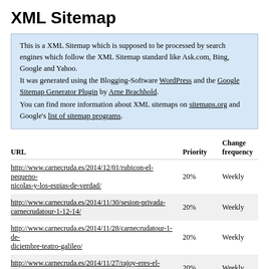XML Sitemap
This is a XML Sitemap which is supposed to be processed by search engines which follow the XML Sitemap standard like Ask.com, Bing, Google and Yahoo.
It was generated using the Blogging-Software WordPress and the Google Sitemap Generator Plugin by Arne Brachhold.
You can find more information about XML sitemaps on sitemaps.org and Google's list of sitemap programs.
| URL | Priority | Change frequency |
| --- | --- | --- |
| http://www.carnecruda.es/2014/12/01/rubicon-el-pequeno-nicolas-y-los-espias-de-verdad/ | 20% | Weekly |
| http://www.carnecruda.es/2014/11/30/sesion-privada-carnecrudatour-1-12-14/ | 20% | Weekly |
| http://www.carnecruda.es/2014/11/28/carnecrudatour-1-de-diciembre-teatro-galileo/ | 20% | Weekly |
| http://www.carnecruda.es/2014/11/27/rajoy-eres-el-siguiente/ | 20% | Weekly |
| http://www.carnecruda.es/2014/11/27/blues-y-rock-el-batido-musical-de-fast-eddie-nelson/ | 20% | Weekly |